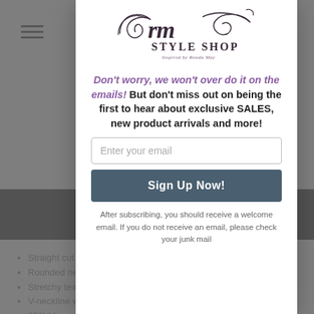[Figure (logo): RM Style Shop logo - cursive rm with decorative swirls, 'STYLE SHOP' in serif, 'Inspired by Ronda May' tagline]
Don't worry, we won't over do it on the emails! But don't miss out on being the first to hear about exclusive SALES, new product arrivals and more!
Enter your email
Sign Up Now!
After subscribing, you should receive a welcome email. If you do not receive an email, please check your junk mail
Straight cut shape
Rounded neckline
Stretchy texture
V-neckline with details at back
95% Viscose 5% Elastane
Amber is wearing a medium. True to size.
2 in stock
RETURNS